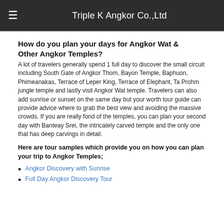Triple K Angkor Co.,Ltd
How do you plan your days for Angkor Wat & Other Angkor Temples?
A lot of travelers generally spend 1 full day to discover the small circuit including South Gate of Angkor Thom, Bayon Temple, Baphuon, Phimeanakas, Terrace of Leper King, Terrace of Elephant, Ta Prohm jungle temple and lastly visit Angkor Wat temple. Travelers can also add sunrise or sunset on the same day but your worth tour guide can provide advice where to grab the best view and avoiding the massive crowds. If you are really fond of the temples, you can plan your second day with Banteay Srei, the intricately carved temple and the only one that has deep carvings in detail.
Here are tour samples which provide you on how you can plan your trip to Angkor Temples;
Angkor Discovery with Sunrise
Full Day Angkor Discovery Tour